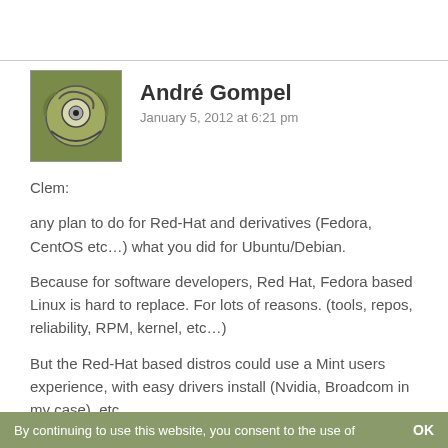[Figure (illustration): Avatar/profile image showing a stylized cartoon face with circular eye and swirling design on olive/green background]
André Gompel
January 5, 2012 at 6:21 pm
Clem:
any plan to do for Red-Hat and derivatives (Fedora, CentOS etc…) what you did for Ubuntu/Debian.

Because for software developers, Red Hat, Fedora based Linux is hard to replace. For lots of reasons. (tools, repos, reliability, RPM, kernel, etc…)

But the Red-Hat based distros could use a Mint users experience, with easy drivers install (Nvidia, Broadcom in my case), etc…

Thanks,
By continuing to use this website, you consent to the use of   OK